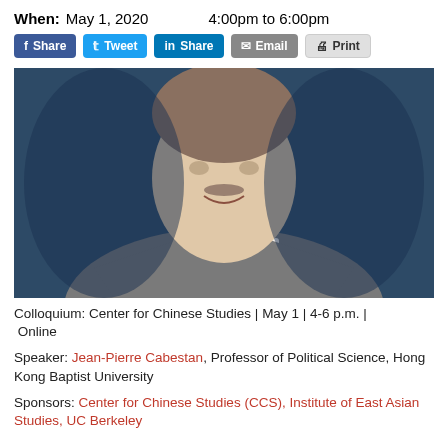When: May 1, 2020   4:00pm to 6:00pm
Share | Tweet | Share | Email | Print
[Figure (photo): Headshot of a man in a grey suit and red tie, smiling, dark blue background]
Colloquium: Center for Chinese Studies | May 1 | 4-6 p.m. | Online
Speaker: Jean-Pierre Cabestan, Professor of Political Science, Hong Kong Baptist University
Sponsors: Center for Chinese Studies (CCS), Institute of East Asian Studies, UC Berkeley